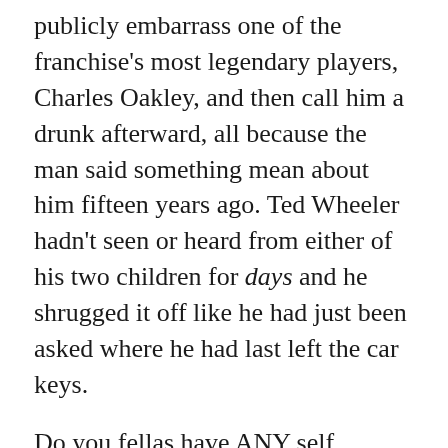publicly embarrass one of the franchise's most legendary players, Charles Oakley, and then call him a drunk afterward, all because the man said something mean about him fifteen years ago. Ted Wheeler hadn't seen or heard from either of his two children for days and he shrugged it off like he had just been asked where he had last left the car keys.
Do you fellas have ANY self awareness?!
Dustin said it best. That goes for you too Dolan.